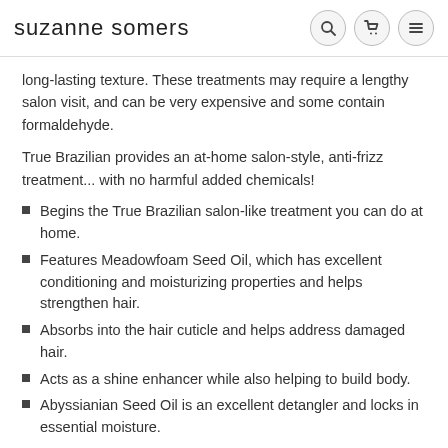suzanne somers
long-lasting texture. These treatments may require a lengthy salon visit, and can be very expensive and some contain formaldehyde.
True Brazilian provides an at-home salon-style, anti-frizz treatment... with no harmful added chemicals!
Begins the True Brazilian salon-like treatment you can do at home.
Features Meadowfoam Seed Oil, which has excellent conditioning and moisturizing properties and helps strengthen hair.
Absorbs into the hair cuticle and helps address damaged hair.
Acts as a shine enhancer while also helping to build body.
Abyssianian Seed Oil is an excellent detangler and locks in essential moisture.
Abyssianian Seed Oil is a light, non-greasy oil that is easily absorbed.